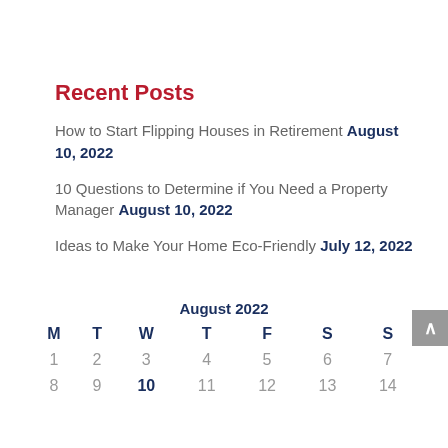Recent Posts
How to Start Flipping Houses in Retirement August 10, 2022
10 Questions to Determine if You Need a Property Manager August 10, 2022
Ideas to Make Your Home Eco-Friendly July 12, 2022
| M | T | W | T | F | S | S |
| --- | --- | --- | --- | --- | --- | --- |
| 1 | 2 | 3 | 4 | 5 | 6 | 7 |
| 8 | 9 | 10 | 11 | 12 | 13 | 14 |